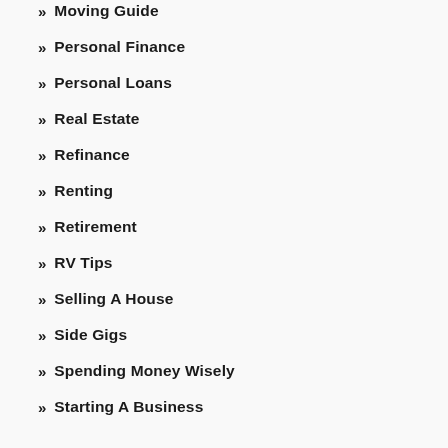Moving Guide
Personal Finance
Personal Loans
Real Estate
Refinance
Renting
Retirement
RV Tips
Selling A House
Side Gigs
Spending Money Wisely
Starting A Business